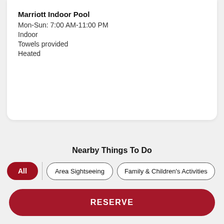Marriott Indoor Pool
Mon-Sun: 7:00 AM-11:00 PM
Indoor
Towels provided
Heated
Nearby Things To Do
All
Area Sightseeing
Family & Children's Activities
RESERVE